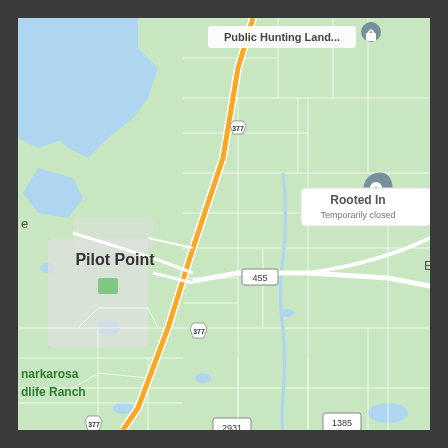[Figure (map): Google Maps screenshot showing Pilot Point, Texas area with roads including US Highway 377 (running diagonally from upper center to lower left), FM 455, FM 1385, and FM 2931. Shows public hunting land label in upper right, 'Rooted In - Temporarily closed' business marker, and partial labels for 'narkarosa dlife Ranch' on the left side. Map background is light green with blue water features in upper left.]